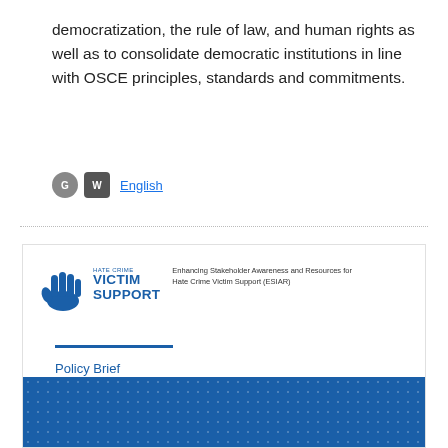democratization, the rule of law, and human rights as well as to consolidate democratic institutions in line with OSCE principles, standards and commitments.
English
[Figure (other): Card with Victim Support logo (hand icon + VICTIM SUPPORT text), subtitle 'Enhancing Stakeholder Awareness and Resources for Hate Crime Victim Support (ESIAR)', a blue rule, 'Policy Brief' label, and bold title 'Structural Arrangements for Hate Crime Victim Support', with a blue dotted footer band.]